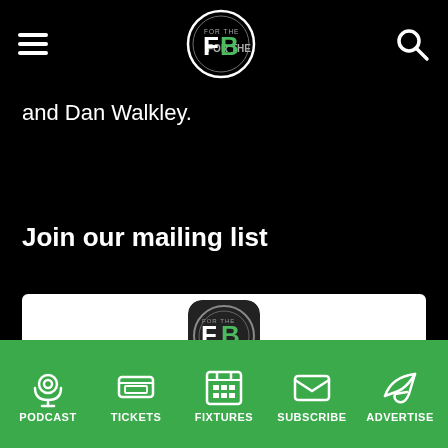Football in Berkshire mobile app header with hamburger menu, FB logo, and search icon
and Dan Walkley.
Join our mailing list
[Figure (logo): Football in Berkshire app icon logo with FB initials in circle on dark background inside white card, with partial text 'Football in Berkshire' below]
PODCAST  TICKETS  FIXTURES  SUBSCRIBE  ADVERTISE